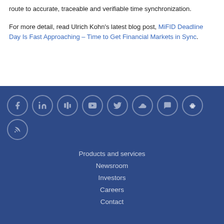route to accurate, traceable and verifiable time synchronization.
For more detail, read Ulrich Kohn's latest blog post, MiFID Deadline Day Is Fast Approaching – Time to Get Financial Markets in Sync.
[Figure (infographic): Row of social media icon circles (Facebook, LinkedIn, SlideShare, YouTube, Twitter, SoundCloud, Chat, Podcast, RSS) on dark blue background]
Products and services
Newsroom
Investors
Careers
Contact